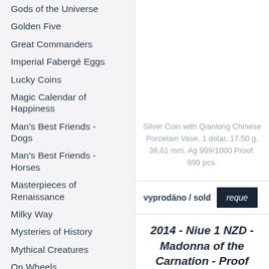Gods of the Universe
Golden Five
Great Commanders
Imperial Fabergé Eggs
Lucky Coins
Magic Calendar of Happiness
Man's Best Friends - Dogs
Man's Best Friends - Horses
Masterpieces of Renaissance
Milky Way
Mysteries of History
Mythical Creatures
On Wheels
Prehistoric World
Reforms of Maria Theresa
S.O.S. to the World
Slavic Gods
Silver Coin with Qianlong Chinese Porcelain Vase. 1 dolar, 17,50 g, 38,61 mm, Ag 999/1000 Proof. 999 pcs.
vyprodáno / sold
reque...
2014 - Niue 1 NZD - Madonna of the Carnation - Proof